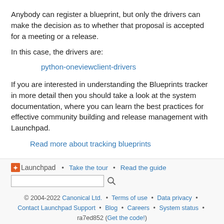Anybody can register a blueprint, but only the drivers can make the decision as to whether that proposal is accepted for a meeting or a release.
In this case, the drivers are:
python-oneviewclient-drivers
If you are interested in understanding the Blueprints tracker in more detail then you should take a look at the system documentation, where you can learn the best practices for effective community building and release management with Launchpad.
Read more about tracking blueprints
Launchpad • Take the tour • Read the guide [search bar] © 2004-2022 Canonical Ltd. • Terms of use • Data privacy • Contact Launchpad Support • Blog • Careers • System status • ra7ed852 (Get the code!)